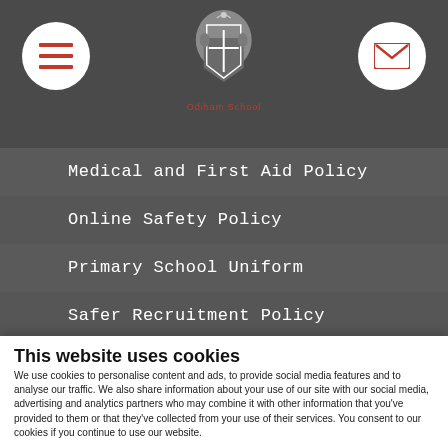[Figure (screenshot): School website header with hamburger menu button, school crest logo, and email button on dark grey background]
Medical and First Aid Policy
Online Safety Policy
Primary School Uniform
Safer Recruitment Policy
Secondary School Uniform
This website uses cookies
We use cookies to personalise content and ads, to provide social media features and to analyse our traffic. We also share information about your use of our site with our social media, advertising and analytics partners who may combine it with other information that you've provided to them or that they've collected from your use of their services. You consent to our cookies if you continue to use our website.
OK
Necessary  Preferences  Statistics  Marketing  Show details